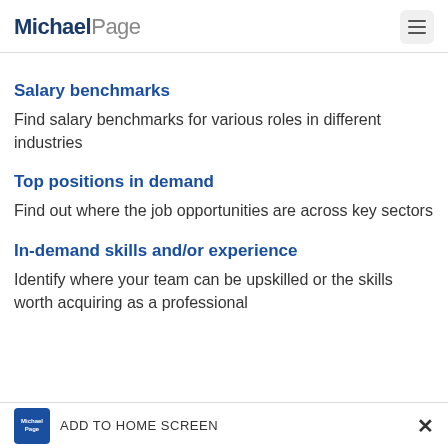Michael Page
Salary benchmarks
Find salary benchmarks for various roles in different industries
Top positions in demand
Find out where the job opportunities are across key sectors
In-demand skills and/or experience
Identify where your team can be upskilled or the skills worth acquiring as a professional
Michael Page  ADD TO HOME SCREEN  ×